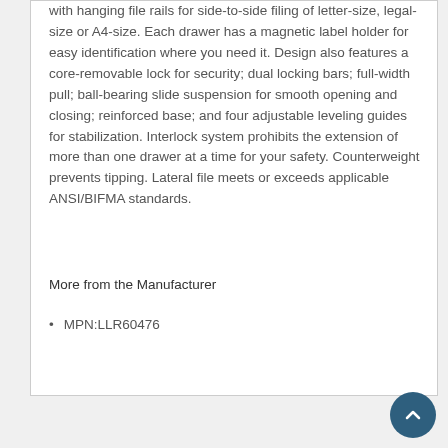with hanging file rails for side-to-side filing of letter-size, legal-size or A4-size. Each drawer has a magnetic label holder for easy identification where you need it. Design also features a core-removable lock for security; dual locking bars; full-width pull; ball-bearing slide suspension for smooth opening and closing; reinforced base; and four adjustable leveling guides for stabilization. Interlock system prohibits the extension of more than one drawer at a time for your safety. Counterweight prevents tipping. Lateral file meets or exceeds applicable ANSI/BIFMA standards.
More from the Manufacturer
MPN:LLR60476